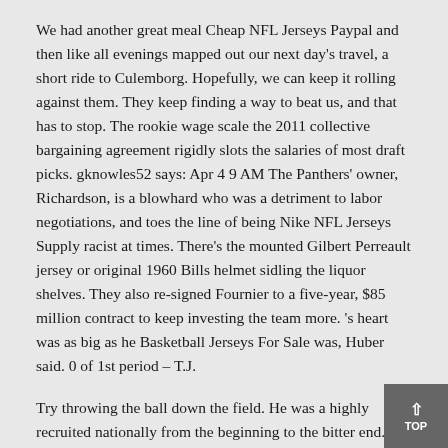We had another great meal Cheap NFL Jerseys Paypal and then like all evenings mapped out our next day's travel, a short ride to Culemborg. Hopefully, we can keep it rolling against them. They keep finding a way to beat us, and that has to stop. The rookie wage scale the 2011 collective bargaining agreement rigidly slots the salaries of most draft picks. gknowles52 says: Apr 4 9 AM The Panthers' owner, Richardson, is a blowhard who was a detriment to labor negotiations, and toes the line of being Nike NFL Jerseys Supply racist at times. There's the mounted Gilbert Perreault jersey or original 1960 Bills helmet sidling the liquor shelves. They also re-signed Fournier to a five-year, $85 million contract to keep investing the team more. 's heart was as big as he Basketball Jerseys For Sale was, Huber said. 0 of 1st period – T.J.
Try throwing the ball down the field. He was a highly recruited nationally from the beginning to the bitter end. is a rare . Do you belittle someone or do you just say, 'You Nike NFL Jerseys Supply know, the quarterback made a bad play there'? The former third-round pick put together four good seasons , with his lowest receiving